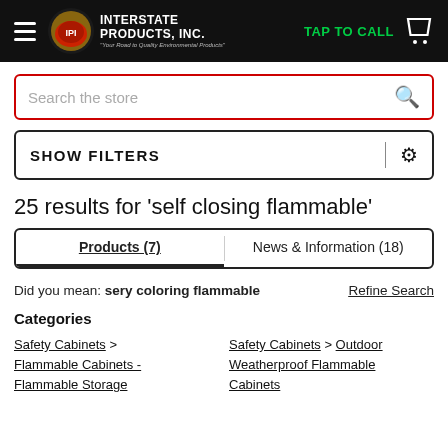[Figure (screenshot): Interstate Products, Inc. website header with hamburger menu, logo, TAP TO CALL button in green, and shopping cart icon on black background]
Search the store
SHOW FILTERS
25 results for 'self closing flammable'
Products (7)    News & Information (18)
Did you mean: sery coloring flammable    Refine Search
Categories
Safety Cabinets > Flammable Cabinets - Flammable Storage
Safety Cabinets > Outdoor Weatherproof Flammable Cabinets